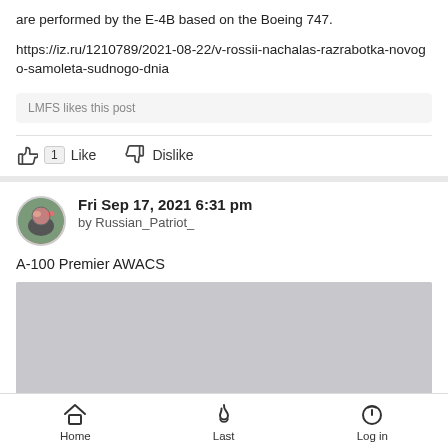are performed by the E-4B based on the Boeing 747.
https://iz.ru/1210789/2021-08-22/v-rossii-nachalas-razrabotka-novogo-samoleta-sudnogo-dnia
LMFS likes this post
1  Like    Dislike
Fri Sep 17, 2021 6:31 pm
by Russian_Patriot_
A-100 Premier AWACS
[Figure (photo): Photo of an aircraft (A-100 Premier AWACS) against a grey sky background, partially visible at the bottom of the card.]
Home  Last  Log in